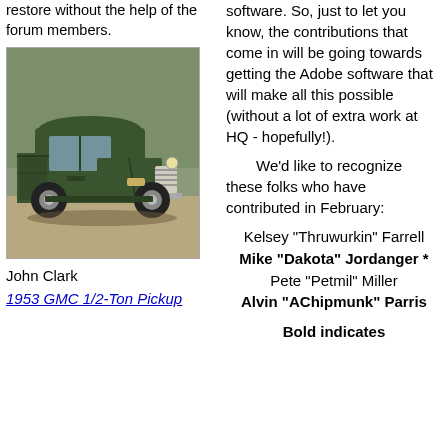restore without the help of the forum members.
[Figure (photo): 1953 GMC 1/2-Ton Pickup truck, dark green, parked outdoors]
John Clark
1953 GMC 1/2-Ton Pickup
software. So, just to let you know, the contributions that come in will be going towards getting the Adobe software that will make all this possible (without a lot of extra work at HQ - hopefully!).
We'd like to recognize these folks who have contributed in February:
Kelsey "Thruwurkin" Farrell
Mike "Dakota" Jordanger *
Pete "Petmil" Miller
Alvin "AChipmunk" Parris
Bold indicates